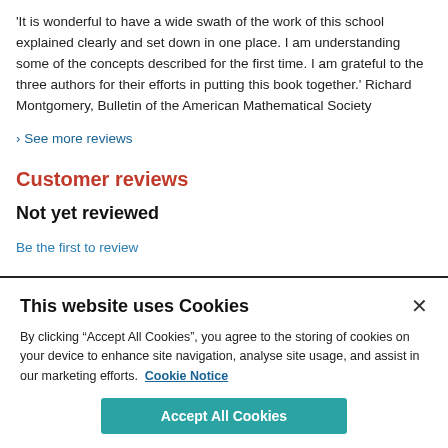'It is wonderful to have a wide swath of the work of this school explained clearly and set down in one place. I am understanding some of the concepts described for the first time. I am grateful to the three authors for their efforts in putting this book together.' Richard Montgomery, Bulletin of the American Mathematical Society
See more reviews
Customer reviews
Not yet reviewed
Be the first to review
Log in to review
This website uses Cookies
By clicking “Accept All Cookies”, you agree to the storing of cookies on your device to enhance site navigation, analyse site usage, and assist in our marketing efforts.  Cookie Notice